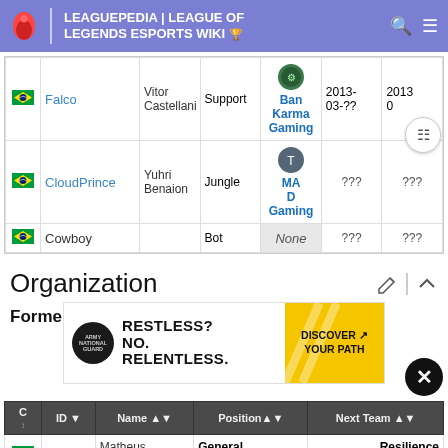LEAGUEPEDIA | LEAGUE OF LEGENDS ESPORTS WIKI
| Country | ID | Name | Position | Team | Date From | Date To |
| --- | --- | --- | --- | --- | --- | --- |
| BR | Falco | Vitor Castellani | Support | Ban Karma Gaming | 2013-03-?? | 2013-?? |
| BR | CloudPrince | Yuhri Benaion | Jungle | MAD Gaming | ??? | ??? |
| BR | Cowboy |  | Bot | None | ??? | ??? |
Organization
Former
[Figure (infographic): Army National Guard advertisement: RESTLESS? NO. RELENTLESS. DISCOVER YOUR PATH]
| C | ID | Name | Position | Next Team |
| --- | --- | --- | --- | --- |
| BR | Rey | Matheus Martins | General Manager | Resilience e-Sports Club |